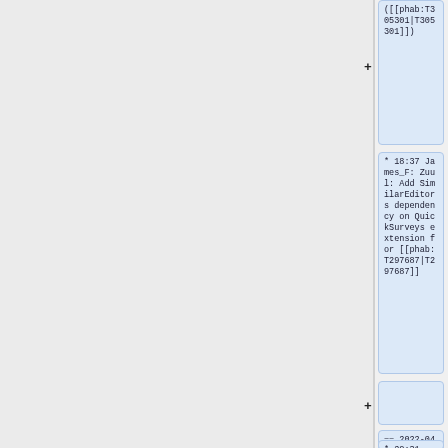([[phab:T305301|T305301]])
* 18:37 James_F: Zuul: Add SimilarEditors dependency on QuickSurveys extension for [[phab:T297687|T297687]]
== 2022-04-28 ==
* 20:31